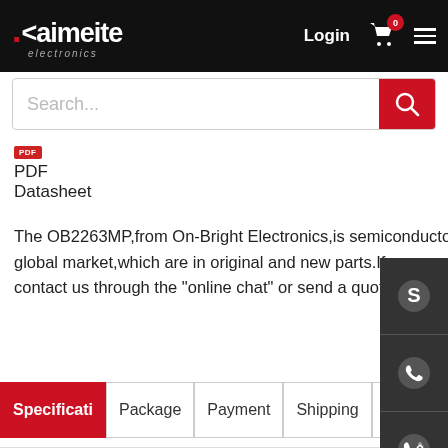[Figure (logo): Kaimeite Electronics logo in white on black background with red dot]
[Figure (screenshot): Search bar with magnifying glass icon on red background]
[Figure (other): PDF badge icon in red]
PDF
Datasheet
The OB2263MP,from On-Bright Electronics,is semiconductor Integrated Circuits - ICs.what we offer have competitive price global market,which are in original and new parts.If you wou to know more about the products or apply a lower price, plea contact us through the "online chat" or send a quote to us!
[Figure (other): Navigation tabs: Specificati, Package, Payment, Shipping, Co (partially visible)]
| Product Category : | semiconduct |
| --- | --- |
|  | Integrated Circuits |